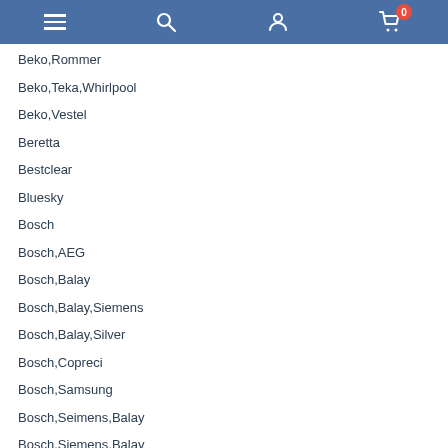Navigation bar with menu, search, user, and cart icons
Beko,Rommer
Beko,Teka,Whirlpool
Beko,Vestel
Beretta
Bestclear
Bluesky
Bosch
Bosch,AEG
Bosch,Balay
Bosch,Balay,Siemens
Bosch,Balay,Silver
Bosch,Copreci
Bosch,Samsung
Bosch,Seimens,Balay
Bosch,Siemens,Balay
Este sitio web utiliza cookies para garantizar que obtenga la mejor experiencia en nuestro sitio web. Puedes leer nuestra Política de Cookies aquí.
Candy